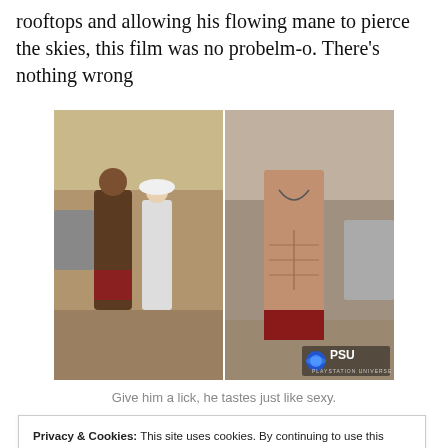rooftops and allowing his flowing mane to pierce the skies, this film was no probelm-o. There's nothing wrong
[Figure (photo): Two side-by-side photos of a shirtless muscular man with long dark hair, wearing dark pants with red fabric. In the left photo he walks with a woman in white. In the right photo he stands alone showing his muscular torso. A PSU (PlayStation Universe) watermark is in the bottom right.]
Give him a lick, he tastes just like sexy.
Privacy & Cookies: This site uses cookies. By continuing to use this website, you agree to their use.
To find out more, including how to control cookies, see here: Cookie Policy
Close and accept